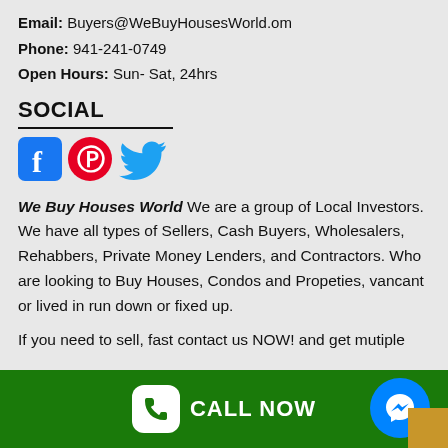Email: Buyers@WeBuyHousesWorld.om
Phone: 941-241-0749
Open Hours: Sun- Sat, 24hrs
SOCIAL
[Figure (logo): Facebook, Pinterest, and Twitter social media icons]
We Buy Houses World We are a group of Local Investors. We have all types of Sellers, Cash Buyers, Wholesalers, Rehabbers, Private Money Lenders, and Contractors. Who are looking to Buy Houses, Condos and Propeties, vancant or lived in run down or fixed up.
If you need to sell, fast contact us NOW! and get mutiple
CALL NOW